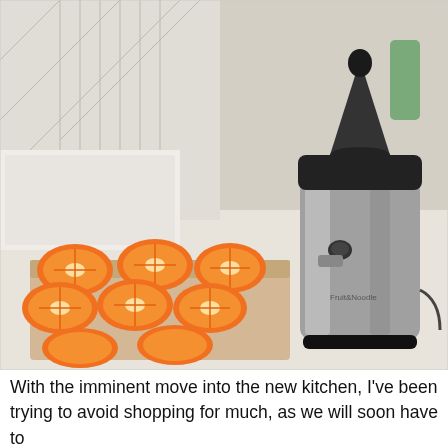[Figure (photo): A kitchen counter with a box of halved oranges on the left and a stainless steel electric citrus juicer (branded Fruit&Noodle or similar) on the right. The juicer has a black conical reamer on top and a cylindrical stainless steel body. Background shows white kitchen cabinets/walls.]
With the imminent move into the new kitchen, I've been trying to avoid shopping for much, as we will soon have to